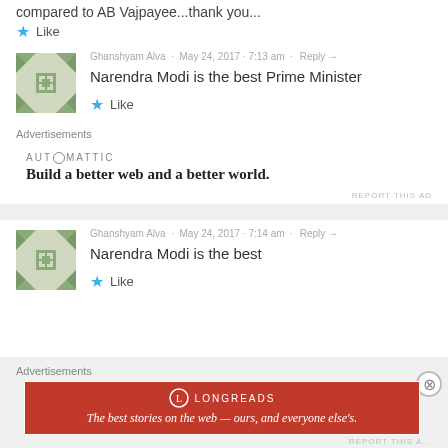compared to AB Vajpayee...thank you...
Like
Ghanshyam Alva · May 24, 2017 · 7:13 am · Reply→
Narendra Modi is the best Prime Minister
Like
Advertisements
[Figure (other): Automattic advertisement: 'Build a better web and a better world.']
REPORT THIS AD
Ghanshyam Alva · May 24, 2017 · 7:14 am · Reply→
Narendra Modi is the best
Like
Advertisements
[Figure (other): Longreads advertisement: 'The best stories on the web — ours, and everyone else's.']